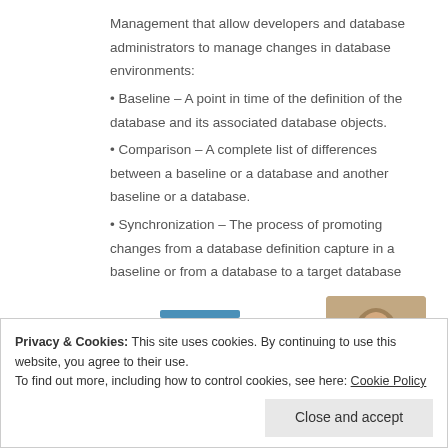Management that allow developers and database administrators to manage changes in database environments:
• Baseline – A point in time of the definition of the database and its associated database objects.
• Comparison – A complete list of differences between a baseline or a database and another baseline or a database.
• Synchronization – The process of promoting changes from a database definition capture in a baseline or from a database to a target database
[Figure (photo): Partial view of a person in casual clothing, photo cropped at bottom of page]
Privacy & Cookies: This site uses cookies. By continuing to use this website, you agree to their use.
To find out more, including how to control cookies, see here: Cookie Policy